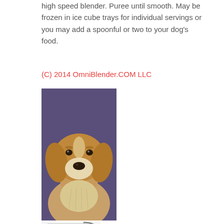high speed blender. Puree until smooth. May be frozen in ice cube trays for individual servings or you may add a spoonful or two to your dog's food.
(C) 2014 OmniBlender.COM LLC
[Figure (photo): Close-up photo of a golden retriever / border collie mix dog looking at the camera, with fluffy reddish-brown and white fur, against a dark purple/blue background.]
[Figure (photo): Partial view of a blender appliance, showing the clear plastic pitcher and handle at the bottom of the page.]